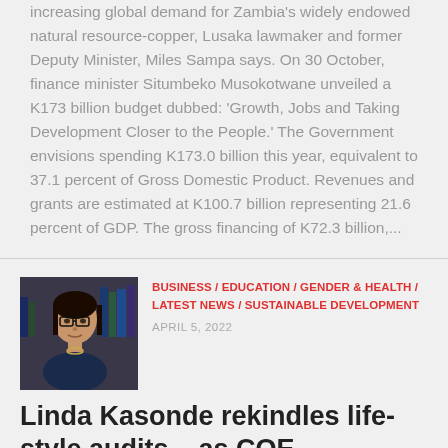increasing global demand for Zambia's widely endowed natural resource-copper, Lusaka lawmaker and former Deputy Minister, Miles Sampa says. On 30 October, finance minister Situmbeko Musokotwane unveiled a K173 billion budget dubbed: 'Growth, Jobs and Taking Development Closer to the People.' The Government envisions spending K173.0 billion this year, equivalent to 37.1 percent of Gross Domestic Product.   Revenues and grants are estimated at K100.7 billion representing 21.6 percent of GDP.  The gross financing of K72.3 billion,...
[Figure (photo): Portrait photo of a woman with glasses wearing professional attire, with bookshelves in the background]
BUSINESS / EDUCATION / GENDER & HEALTH / LATEST NEWS / SUSTAINABLE DEVELOPMENT
APRIL 5, 2022
Linda Kasonde rekindles life-style audits – as COE commends compliant